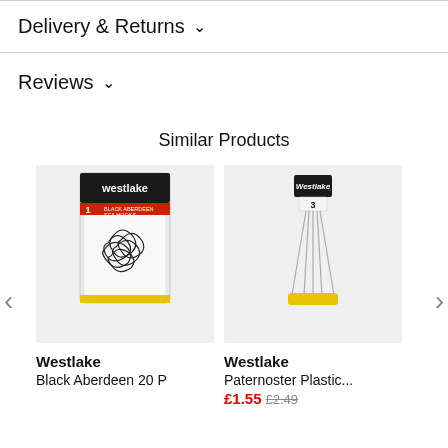Delivery & Returns ∨
Reviews ∨
Similar Products
[Figure (photo): Westlake Black Aberdeen Sea Hooks product packaging, black hooks in blister pack]
Westlake
Black Aberdeen 20 P
[Figure (photo): Westlake Paternoster Plastic product, fishing rig with multiple wire strands and yellow weight]
Westlake
Paternoster Plastic...
£1.55 £2.49